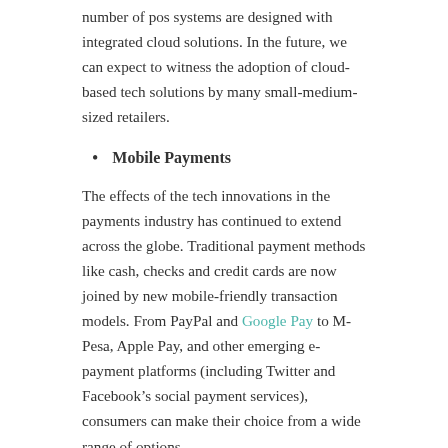number of pos systems are designed with integrated cloud solutions. In the future, we can expect to witness the adoption of cloud-based tech solutions by many small-medium-sized retailers.
Mobile Payments
The effects of the tech innovations in the payments industry has continued to extend across the globe. Traditional payment methods like cash, checks and credit cards are now joined by new mobile-friendly transaction models. From PayPal and Google Pay to M-Pesa, Apple Pay, and other emerging e-payment platforms (including Twitter and Facebook’s social payment services), consumers can make their choice from a wide range of options.
Without doubt, smartphones now play a key role in the